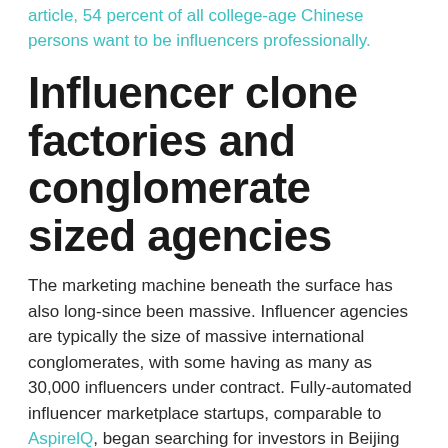article, 54 percent of all college-age Chinese persons want to be influencers professionally.
Influencer clone factories and conglomerate sized agencies
The marketing machine beneath the surface has also long-since been massive. Influencer agencies are typically the size of massive international conglomerates, with some having as many as 30,000 influencers under contract. Fully-automated influencer marketplace startups, comparable to AspireIQ, began searching for investors in Beijing as early as a decade ago.